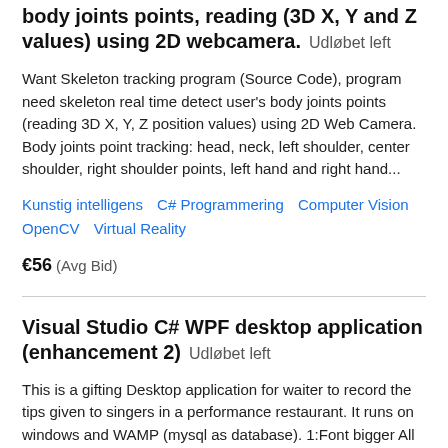body joints points, reading (3D X, Y and Z values) using 2D webcamera.  Udløbet left
Want Skeleton tracking program (Source Code), program need skeleton real time detect user's body joints points (reading 3D X, Y, Z position values) using 2D Web Camera. Body joints point tracking: head, neck, left shoulder, center shoulder, right shoulder points, left hand and right hand...
Kunstig intelligens   C# Programmering   Computer Vision   OpenCV   Virtual Reality
€56  (Avg Bid)
Visual Studio C# WPF desktop application (enhancement 2)  Udløbet left
This is a gifting Desktop application for waiter to record the tips given to singers in a performance restaurant. It runs on windows and WAMP (mysql as database). 1:Font bigger All the fonts in the boxes i want it to auto maximum the space. So that the font look biggest at all times. 2: A...